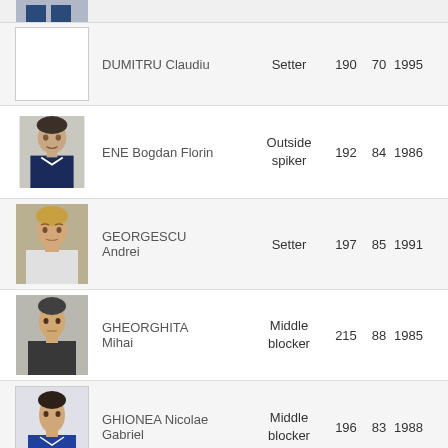| Photo | Name | Position | Height | Weight | Year |
| --- | --- | --- | --- | --- | --- |
| [photo] | DUMITRU Claudiu | Setter | 190 | 70 | 1995 |
| [photo] | ENE Bogdan Florin | Outside spiker | 192 | 84 | 1986 |
| [photo] | GEORGESCU Andrei | Setter | 197 | 85 | 1991 |
| [photo] | GHEORGHITA Mihai | Middle blocker | 215 | 88 | 1985 |
| [photo] | GHIONEA Nicolae Gabriel | Middle blocker | 196 | 83 | 1988 |
| [photo] | KANTOR Vlad Alexandru | Libero | 178 | 66 | 1995 |
| [photo] | ... | ... |  |  |  |